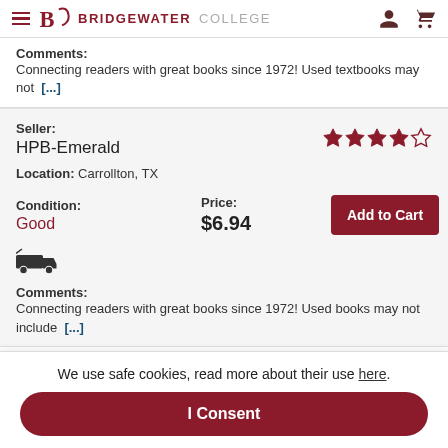Bridgewater College
Comments: Connecting readers with great books since 1972! Used textbooks may not [...]
Seller: HPB-Emerald
Location: Carrollton, TX
Condition: Good
Price: $6.94
Comments: Connecting readers with great books since 1972! Used books may not include [...]
We use safe cookies, read more about their use here.
I Consent